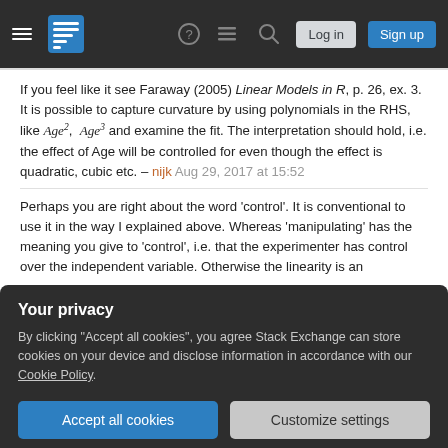Stack Exchange navigation bar with hamburger menu, logo, help, chat, search icons, Log in and Sign up buttons
If you feel like it see Faraway (2005) Linear Models in R, p. 26, ex. 3. It is possible to capture curvature by using polynomials in the RHS, like Age², Age³ and examine the fit. The interpretation should hold, i.e. the effect of Age will be controlled for even though the effect is quadratic, cubic etc. – nijk Aug 29, 2017 at 15:52
Perhaps you are right about the word 'control'. It is conventional to use it in the way I explained above. Whereas 'manipulating' has the meaning you give to 'control', i.e. that the experimenter has control over the independent variable. Otherwise the linearity is an
Your privacy
By clicking "Accept all cookies", you agree Stack Exchange can store cookies on your device and disclose information in accordance with our Cookie Policy.